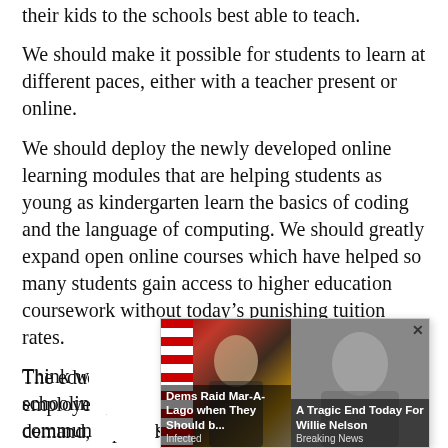their kids to the schools best able to teach.
We should make it possible for students to learn at different paces, either with a teacher present or online.
We should deploy the newly developed online learning modules that are helping students as young as kindergarten learn the basics of coding and the language of computing. We should greatly expand open online courses which have helped so many students gain access to higher education coursework without today's punishing tuition rates.
The education curriculum should fully integrate employers, who know best what skills are in demand, especially high-skilled manufacturing and other “blue collar” jobs.
[Figure (screenshot): Ad overlay with two news teaser cards. Left card: image of person with US flag, headline 'Dems Raid Mar-A-Lago when They Should b...' source 'Infected'. Right card: image of elderly man, headline 'A Tragic End Today For Willie Nelson' source 'Breaking News'. Close button (x) at top right.]
Think w… y schoolin… n commun… s create